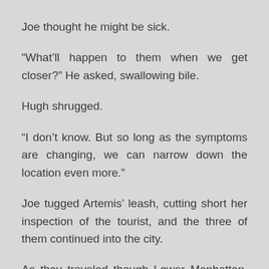Joe thought he might be sick.
“What’ll happen to them when we get closer?” He asked, swallowing bile.
Hugh shrugged.
“I don’t know. But so long as the symptoms are changing, we can narrow down the location even more.”
Joe tugged Artemis’ leash, cutting short her inspection of the tourist, and the three of them continued into the city.
As they traveled though Lower Manhattan, the